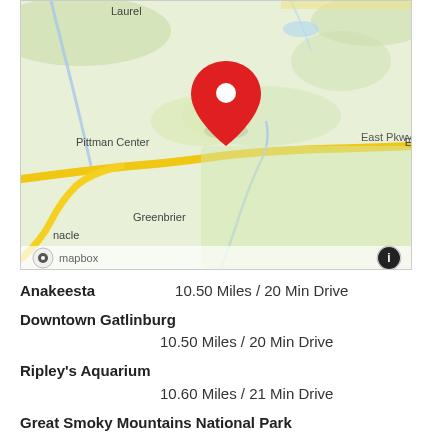[Figure (map): Mapbox map showing the area around Pittman Center, East Pkwy, Greenbrier, and Laurel in Tennessee near Gatlinburg. A red location pin marker is visible near the center-top of the map. A yellow road (East Pkwy) runs horizontally. The map is mostly green terrain indicating Great Smoky Mountains area. Mapbox logo visible in the bottom-left corner and an info icon in the bottom-right.]
Anakeesta    10.50 Miles / 20 Min Drive
Downtown Gatlinburg
                10.50 Miles / 20 Min Drive
Ripley's Aquarium
                10.60 Miles / 21 Min Drive
Great Smoky Mountains National Park